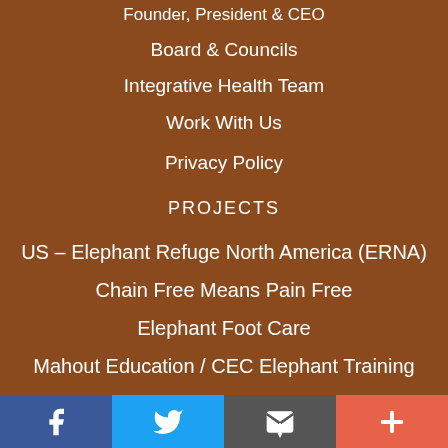Founder, President & CEO
Board & Councils
Integrative Health Team
Work With Us
Privacy Policy
PROJECTS
US – Elephant Refuge North America (ERNA)
Chain Free Means Pain Free
Elephant Foot Care
Mahout Education / CEC Elephant Training Program
Supporting Mahouts & Their Elephants...